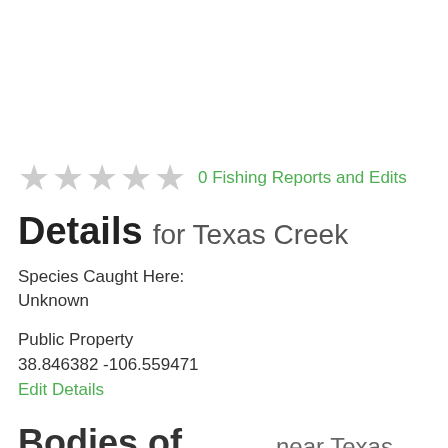[Figure (other): Five empty/grey star rating icons]
0 Fishing Reports and Edits
Details for Texas Creek
Species Caught Here:
Unknown
Public Property
38.846382 -106.559471
Edit Details
Bodies of Water near Texas Creek
Illinois Creek